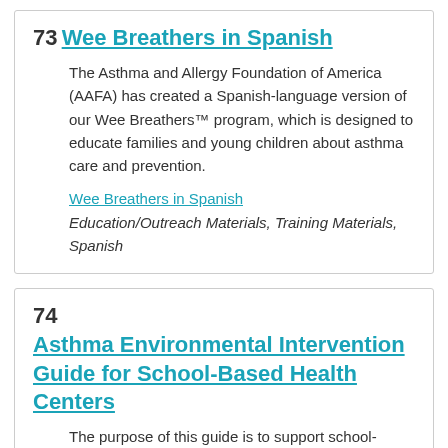73 Wee Breathers in Spanish
The Asthma and Allergy Foundation of America (AAFA) has created a Spanish-language version of our Wee Breathers™ program, which is designed to educate families and young children about asthma care and prevention.
Wee Breathers in Spanish
Education/Outreach Materials, Training Materials, Spanish
74 Asthma Environmental Intervention Guide for School-Based Health Centers
The purpose of this guide is to support school-